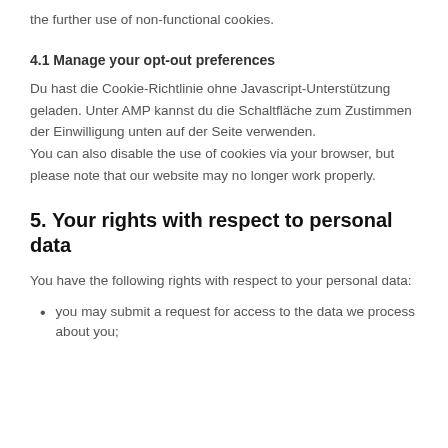the further use of non-functional cookies.
4.1 Manage your opt-out preferences
Du hast die Cookie-Richtlinie ohne Javascript-Unterstützung geladen. Unter AMP kannst du die Schaltfläche zum Zustimmen der Einwilligung unten auf der Seite verwenden.
You can also disable the use of cookies via your browser, but please note that our website may no longer work properly.
5. Your rights with respect to personal data
You have the following rights with respect to your personal data:
you may submit a request for access to the data we process about you;